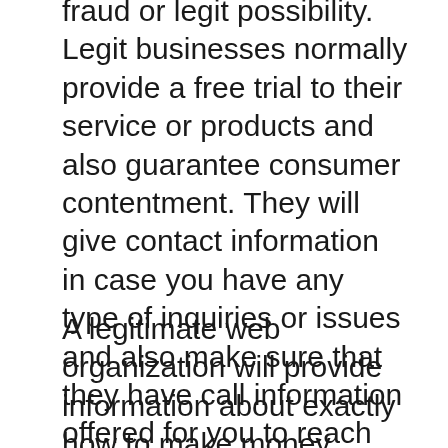fraud or legit possibility. Legit businesses normally provide a free trial to their service or products and also guarantee consumer contentment. They will give contact information in case you have any type of inquiries or issues and also make sure that they have call information offered for you to reach them at any time.
A legitimate web organization will provide information about exactly how to make money online and how much it will certainly require to begin. They will let you know in advance the amount of job included and reveal you some examples to reveal you just how very easy it is to earn money on the web. They will certainly allow you understand about rip-offs and allow you